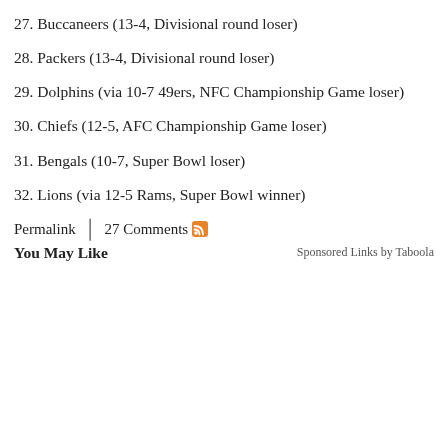27. Buccaneers (13-4, Divisional round loser)
28. Packers (13-4, Divisional round loser)
29. Dolphins (via 10-7 49ers, NFC Championship Game loser)
30. Chiefs (12-5, AFC Championship Game loser)
31. Bengals (10-7, Super Bowl loser)
32. Lions (via 12-5 Rams, Super Bowl winner)
Permalink | 27 Comments [RSS]
You May Like   Sponsored Links by Taboola